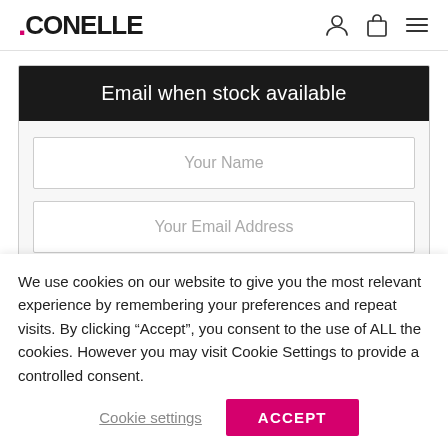.CONELLE
Email when stock available
Your Name
Your Email Address
We use cookies on our website to give you the most relevant experience by remembering your preferences and repeat visits. By clicking “Accept”, you consent to the use of ALL the cookies. However you may visit Cookie Settings to provide a controlled consent.
Cookie settings
ACCEPT